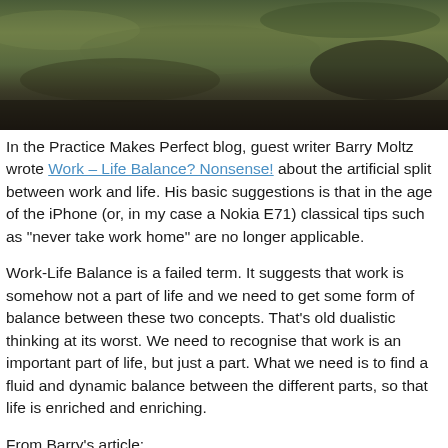[Figure (photo): Blurred outdoor photo header with dark green and brown tones, likely foliage or landscape]
In the Practice Makes Perfect blog, guest writer Barry Moltz wrote Work – Life Balance? Nonsense! about the artificial split between work and life. His basic suggestions is that in the age of the iPhone (or, in my case a Nokia E71) classical tips such as "never take work home" are no longer applicable.
Work-Life Balance is a failed term. It suggests that work is somehow not a part of life and we need to get some form of balance between these two concepts. That's old dualistic thinking at its worst. We need to recognise that work is an important part of life, but just a part. What we need is to find a fluid and dynamic balance between the different parts, so that life is enriched and enriching.
From Barry's article: